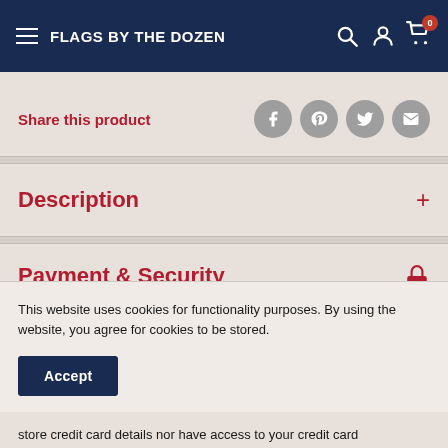FLAGS BY THE DOZEN
Share this product
Description
Payment & Security
This website uses cookies for functionality purposes. By using the website, you agree for cookies to be stored.
Accept
store credit card details nor have access to your credit card